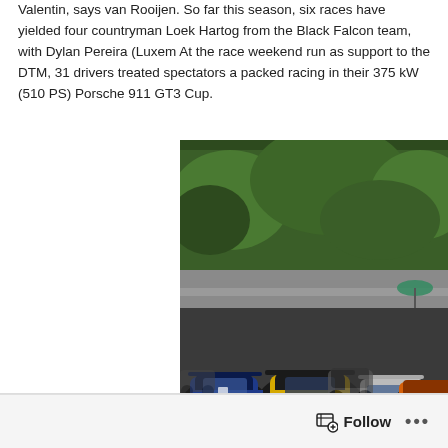Valentin, says van Rooijen. So far this season, six races have yielded four countryman Loek Hartog from the Black Falcon team, with Dylan Pereira (Luxem At the race weekend run as support to the DTM, 31 drivers treated spectators a packed racing in their 375 kW (510 PS) Porsche 911 GT3 Cup.
[Figure (photo): Racing scene showing multiple Porsche 911 GT3 Cup cars on track, with a yellow/black car in the lead, a blue car on the left, white and orange cars behind, trees in the background, taken at a motorsport circuit during the DTM support race.]
Follow ...